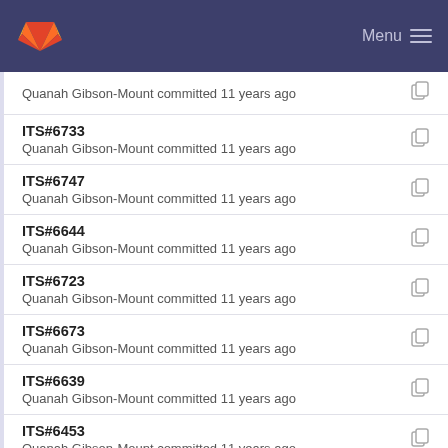GitLab — Menu
Quanah Gibson-Mount committed 11 years ago
ITS#6733
Quanah Gibson-Mount committed 11 years ago
ITS#6747
Quanah Gibson-Mount committed 11 years ago
ITS#6644
Quanah Gibson-Mount committed 11 years ago
ITS#6723
Quanah Gibson-Mount committed 11 years ago
ITS#6673
Quanah Gibson-Mount committed 11 years ago
ITS#6639
Quanah Gibson-Mount committed 11 years ago
ITS#6453
Quanah Gibson-Mount committed 11 years ago